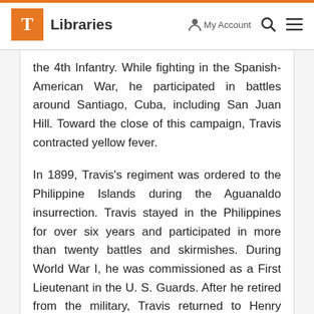T Libraries | My Account | Search | Menu
the 4th Infantry. While fighting in the Spanish-American War, he participated in battles around Santiago, Cuba, including San Juan Hill. Toward the close of this campaign, Travis contracted yellow fever.
In 1899, Travis's regiment was ordered to the Philippine Islands during the Aguanaldo insurrection. Travis stayed in the Philippines for over six years and participated in more than twenty battles and skirmishes. During World War I, he was commissioned as a First Lieutenant in the U. S. Guards. After he retired from the military, Travis returned to Henry County, Tennessee, where he remained